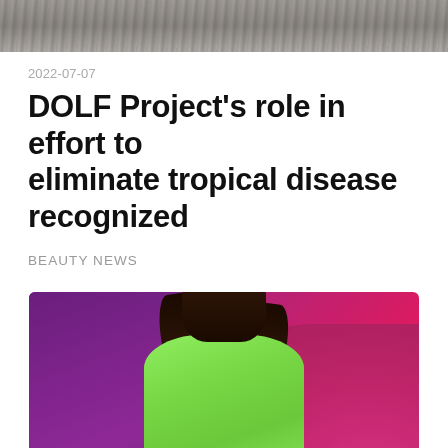[Figure (photo): Top portion of an outdoor photo showing ground/pavement texture, gray tones]
2022-07-07
DOLF Project’s role in effort to eliminate tropical disease recognized
BEAUTY NEWS
[Figure (photo): Woman in a bright green long-sleeve outfit performing on a vibrant purple and magenta stage, smiling and holding a microphone]